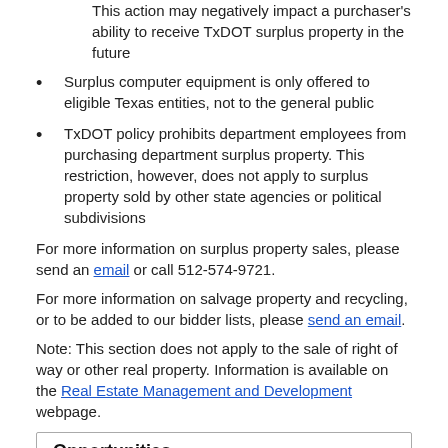This action may negatively impact a purchaser's ability to receive TxDOT surplus property in the future
Surplus computer equipment is only offered to eligible Texas entities, not to the general public
TxDOT policy prohibits department employees from purchasing department surplus property. This restriction, however, does not apply to surplus property sold by other state agencies or political subdivisions
For more information on surplus property sales, please send an email or call 512-574-9721.
For more information on salvage property and recycling, or to be added to our bidder lists, please send an email.
Note: This section does not apply to the sale of right of way or other real property. Information is available on the Real Estate Management and Development webpage.
Opportunities
Proposal Request Forms